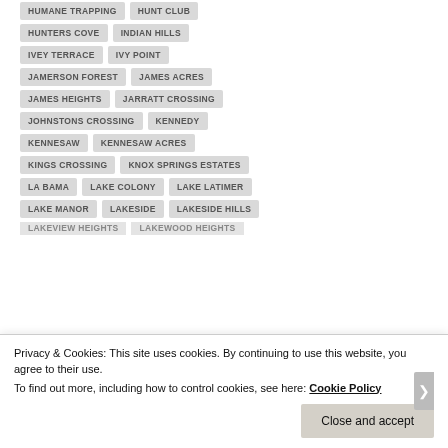HUMANE TRAPPING
HUNT CLUB
HUNTERS COVE
INDIAN HILLS
IVEY TERRACE
IVY POINT
JAMERSON FOREST
JAMES ACRES
JAMES HEIGHTS
JARRATT CROSSING
JOHNSTONS CROSSING
KENNEDY
KENNESAW
KENNESAW ACRES
KINGS CROSSING
KNOX SPRINGS ESTATES
LA BAMA
LAKE COLONY
LAKE LATIMER
LAKE MANOR
LAKESIDE
LAKESIDE HILLS
LAKEVIEW HEIGHTS
LAKEWOOD HEIGHTS
Privacy & Cookies: This site uses cookies. By continuing to use this website, you agree to their use.
To find out more, including how to control cookies, see here: Cookie Policy